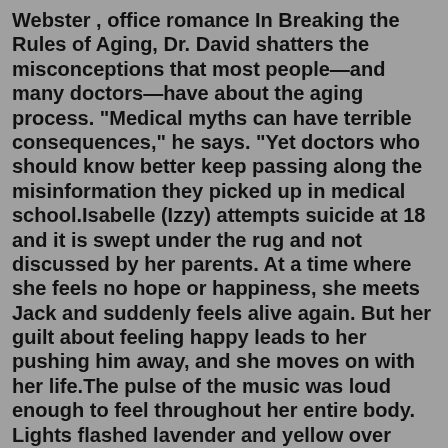Webster , office romance In Breaking the Rules of Aging, Dr. David shatters the misconceptions that most people—and many doctors—have about the aging process. "Medical myths can have terrible consequences," he says. "Yet doctors who should know better keep passing along the misinformation they picked up in medical school.Isabelle (Izzy) attempts suicide at 18 and it is swept under the rug and not discussed by her parents. At a time where she feels no hope or happiness, she meets Jack and suddenly feels alive again. But her guilt about feeling happy leads to her pushing him away, and she moves on with her life.The pulse of the music was loud enough to feel throughout her entire body. Lights flashed lavender and yellow over them. Xavier kept her close, never breaking contact with her. Waverly angled her head toward his ear so he could hear her over the thumping electronic dance music. "She'll be in the VIP section."Breaking the Rules. By: Suzanne Brockmann. Narrated by: Patrick Lawlor, Renee Baudman. Length: 18 hrs and 14 mins. 4.2 (802...